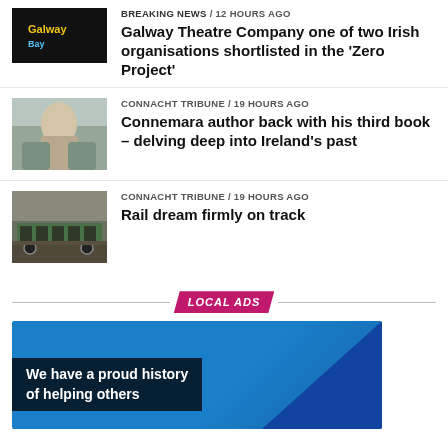[Figure (other): Galway Bay logo on black background thumbnail]
BREAKING NEWS / 12 hours ago
Galway Theatre Company one of two Irish organisations shortlisted in the 'Zero Project'
[Figure (photo): Photo of a man holding books]
CONNACHT TRIBUNE / 19 hours ago
Connemara author back with his third book – delving deep into Ireland's past
[Figure (photo): Photo of a green train/rail carriage]
CONNACHT TRIBUNE / 19 hours ago
Rail dream firmly on track
LOCAL ADS
[Figure (illustration): Blue advertisement banner with text: We have a proud history of helping others]